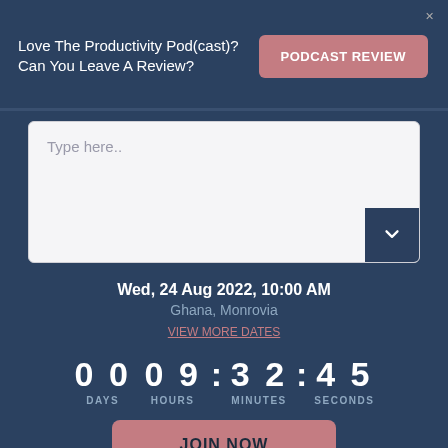Love The Productivity Pod(cast)?
Can You Leave A Review?
PODCAST REVIEW
Type here..
Wed, 24 Aug 2022, 10:00 AM
Ghana, Monrovia
VIEW MORE DATES
00 DAYS   09 : 32 : 45
HOURS  MINUTES  SECONDS
JOIN NOW